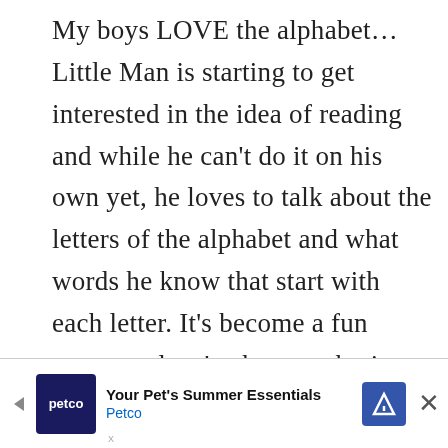My boys LOVE the alphabet…Little Man is starting to get interested in the idea of reading and while he can't do it on his own yet, he loves to talk about the letters of the alphabet and what words he know that start with each letter. It's become a fun game, and we've been gathering alphabet books from the library to give us some variety. One of the fun things about alphabet books (aside from all the alliteration, which my English teacher heart LOVES) is that all the different books use different words that
[Figure (other): Advertisement banner for Petco 'Your Pet's Summer Essentials' with Petco logo, navigation arrow icon, and close button]